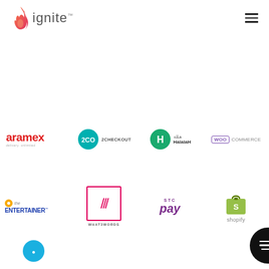[Figure (logo): Ignite logo with flame icon and 'ignite™' text]
[Figure (logo): Hamburger menu icon (three horizontal lines)]
[Figure (logo): Aramex logo - red text 'aramex' with tagline 'delivery. unlimited']
[Figure (logo): 2Checkout logo - teal circle with '2CO' and '2CHECKOUT' text]
[Figure (logo): HalalaH logo - green circle H icon with Arabic and English text]
[Figure (logo): WooCommerce logo in purple]
[Figure (logo): The Entertainer logo in blue with yellow dot]
[Figure (logo): what3words logo - box with three slashes and text WHAT3WORDS]
[Figure (logo): STC Pay logo in purple]
[Figure (logo): Shopify logo with green bag icon]
[Figure (logo): Chat bubble icon in black with white lines]
[Figure (logo): Partial logo at bottom (blue circle, cut off)]